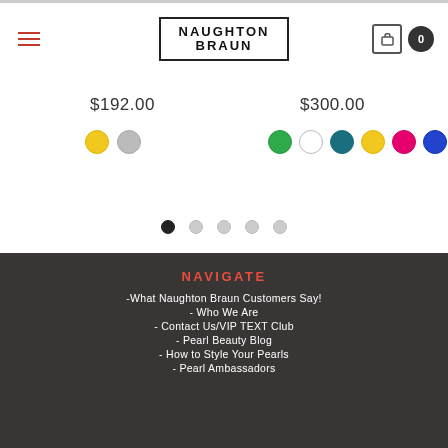NAUGHTON BRAUN
$192.00
$300.00
NAVIGATE
-What Naughton Braun Customers Say!
- Who We Are
- Contact Us/VIP TEXT Club
- Pearl Beauty Blog
- How to Style Your Pearls
- Pearl Ambassadors